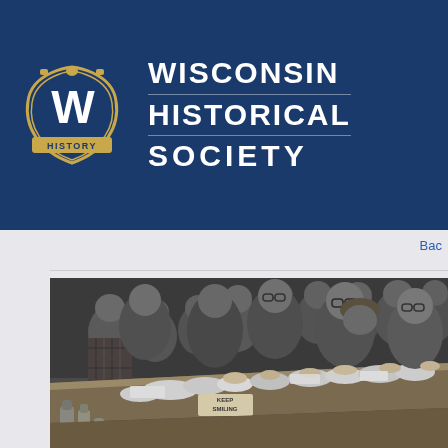[Figure (logo): Wisconsin Historical Society logo: a stylized 'W' badge with 'HISTORY' banner and the organization name 'WISCONSIN HISTORICAL SOCIETY' in bold white text on a navy blue header bar]
Bac
[Figure (photo): Black and white historical photograph showing a group of people gathered around a bar or counter. Several women in the foreground are handling papers and bags, appearing to be sorting or counting items. A small sign reading 'KEEP SMILING' is visible on the counter. Bottles are visible in the lower left. A crowd of men and women stands in the background.]